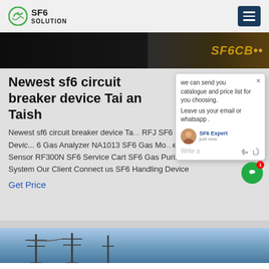SF6 SOLUTION
[Figure (screenshot): Dark banner image with SF6CB text overlay in gold/orange italic font]
Newest sf6 circuit breaker device Tai an Taish
Newest sf6 circuit breaker device Ta... RFJ SF6 Refilling Evacuating Devic... 6 Gas Analyzer NA1013 SF6 Gas Mo... em RSSSF6 Smart SF6 Sensor RF300N SF6 Service Cart SF6 Gas Purification for re-use System Our Client Connect us SF6 Handling Device
Get Price
[Figure (screenshot): Chat popup overlay showing: 'we can send you catalogue and price list for you choosing. Leave us your email or whatsapp .' with SF6 Expert agent avatar and just now timestamp, write a message input row]
[Figure (photo): Bottom image showing electrical transmission towers against blue sky]